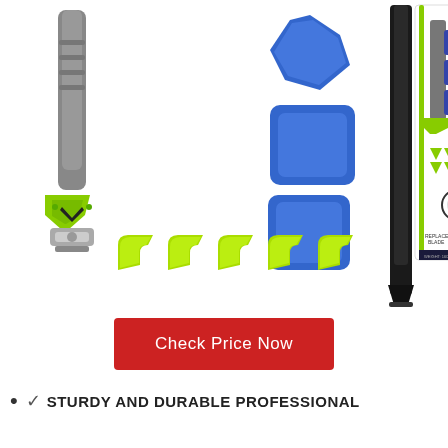[Figure (photo): Product photo showing a caulking tool kit with a gray and green handled scraper/applicator tool, blue silicone finishing pads in different shapes, a black scraper/removal tool, five yellow-green corner finishing pieces, and a product box on the right side showing the same tools.]
Check Price Now
✓ STURDY AND DURABLE PROFESSIONAL